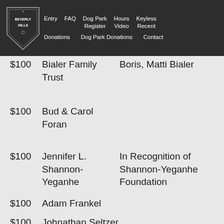Beverly Hills Dog Park | Entry | FAQ | Dog Park Register | Hours Video | Keyless Recent | Donations | Dog Park Donations | Contact
$100 | Bialer Family Trust | Boris, Matti Bialer
$100 | Bud & Carol Foran
$100 | Jennifer L. Shannon-Yeganhe | In Recognition of Shannon-Yeganhe Foundation
$100 | Adam Frankel
$100 | Johnathan Seltzer